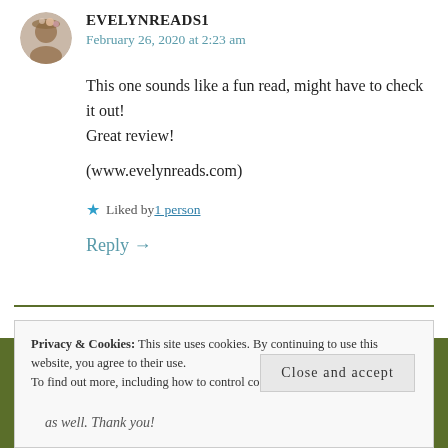[Figure (photo): Circular avatar photo of a woman with flowers/hat]
EVELYNREADS1
February 26, 2020 at 2:23 am
This one sounds like a fun read, might have to check it out!
Great review!
(www.evelynreads.com)
★ Liked by 1 person
Reply →
Privacy & Cookies: This site uses cookies. By continuing to use this website, you agree to their use.
To find out more, including how to control cookies, see here: Cookie Policy
Close and accept
as well. Thank you!